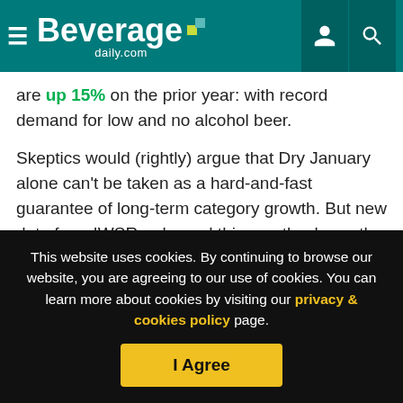Beverage daily.com
are up 15% on the prior year: with record demand for low and no alcohol beer.
Skeptics would (rightly) argue that Dry January alone can't be taken as a hard-and-fast guarantee of long-term category growth. But new data from IWSR, released this month, shows the category is growing year on year.
Taking a broad, multi-market and multi-year view, its data puts the...
This website uses cookies. By continuing to browse our website, you are agreeing to our use of cookies. You can learn more about cookies by visiting our privacy & cookies policy page.
I Agree